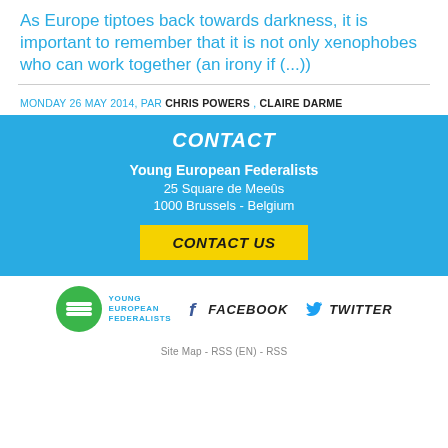As Europe tiptoes back towards darkness, it is important to remember that it is not only xenophobes who can work together (an irony if (...))
MONDAY 26 MAY 2014, PAR CHRIS POWERS , CLAIRE DARME
CONTACT
Young European Federalists
25 Square de Meeûs
1000 Brussels - Belgium
CONTACT US
[Figure (logo): Young European Federalists logo: green circle with white horizontal lines and YEF text]
FACEBOOK
TWITTER
Site Map  -  RSS (EN)  -  RSS